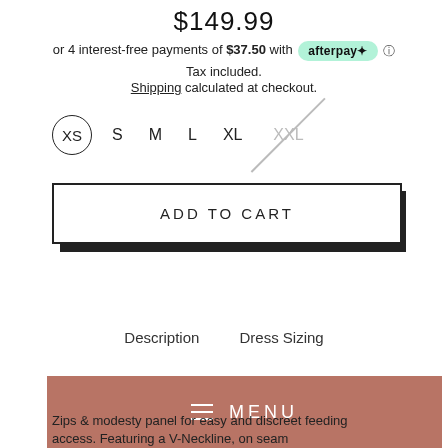$149.99
or 4 interest-free payments of $37.50 with afterpay ⓘ
Tax included.
Shipping calculated at checkout.
[Figure (other): Size selector showing XS (selected/circled), S, M, L, XL, XXL (crossed out/unavailable)]
[Figure (other): ADD TO CART button with dark shadow offset]
Description    Dress Sizing
[Figure (other): Pink/terracotta menu bar with hamburger icon and MENU text]
Zips & modesty panel for easy and discreet feeding access. Featuring a V-Neckline, on seam